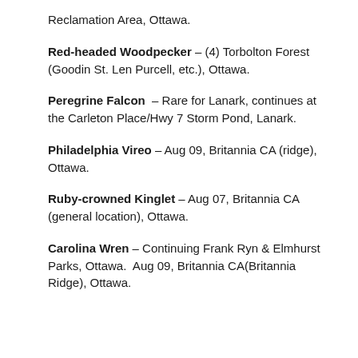Reclamation Area, Ottawa.
Red-headed Woodpecker – (4) Torbolton Forest (Goodin St. Len Purcell, etc.), Ottawa.
Peregrine Falcon – Rare for Lanark, continues at the Carleton Place/Hwy 7 Storm Pond, Lanark.
Philadelphia Vireo – Aug 09, Britannia CA (ridge), Ottawa.
Ruby-crowned Kinglet – Aug 07, Britannia CA (general location), Ottawa.
Carolina Wren – Continuing Frank Ryn & Elmhurst Parks, Ottawa. Aug 09, Britannia CA(Britannia Ridge), Ottawa.